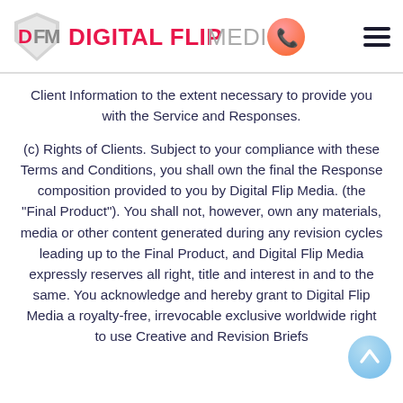DIGITAL FLIP MEDIA
Client Information to the extent necessary to provide you with the Service and Responses.
(c) Rights of Clients. Subject to your compliance with these Terms and Conditions, you shall own the final the Response composition provided to you by Digital Flip Media. (the "Final Product"). You shall not, however, own any materials, media or other content generated during any revision cycles leading up to the Final Product, and Digital Flip Media expressly reserves all right, title and interest in and to the same. You acknowledge and hereby grant to Digital Flip Media a royalty-free, irrevocable exclusive worldwide right to use Creative and Revision Briefs